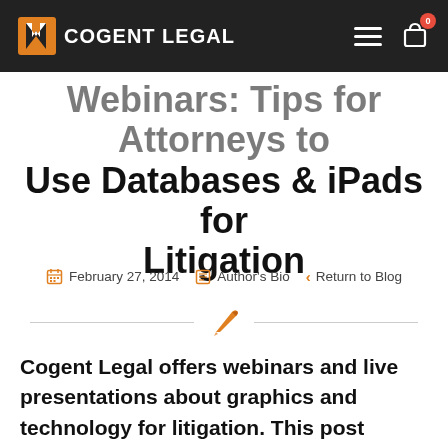COGENT LEGAL
Webinars: Tips for Attorneys to Use Databases & iPads for Litigation
February 27, 2014   Author's Bio   Return to Blog
Cogent Legal offers webinars and live presentations about graphics and technology for litigation. This post announces webinars about